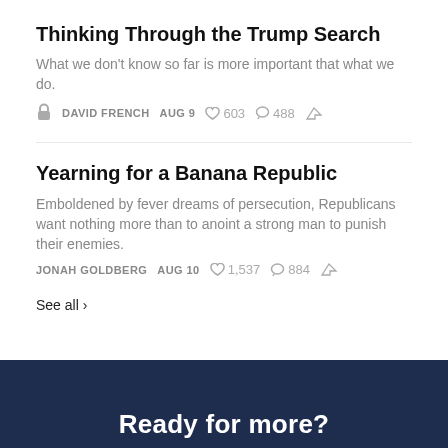Thinking Through the Trump Search
What we don't know so far is more important that what we do.
🔒  DAVID FRENCH  AUG 9  ♡ 603  💬 488  ↗
Yearning for a Banana Republic
Emboldened by fever dreams of persecution, Republicans want nothing more than to anoint a strong man to punish their enemies.
JONAH GOLDBERG  AUG 10  ♡ 1,537  💬 884  ↗
See all ›
Ready for more?